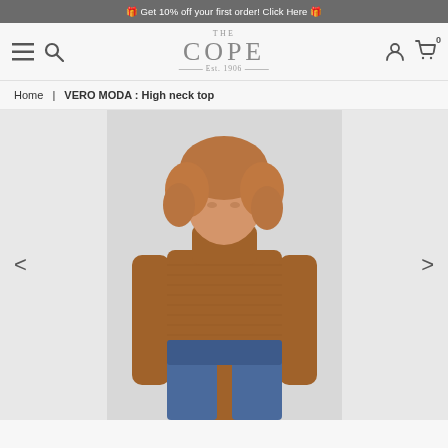🎁 Get 10% off your first order! Click Here 🎁
[Figure (logo): THE COPE Est. 1906 brand logo with decorative serif font]
Home | VERO MODA : High neck top
[Figure (photo): Woman wearing a brown/rust high neck ribbed long sleeve turtleneck top with blue jeans, curly blonde hair, light grey background]